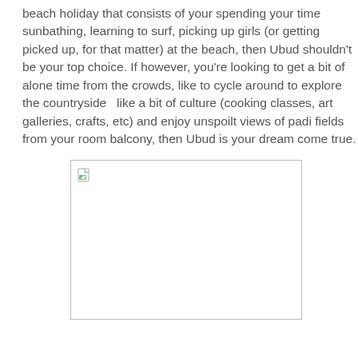beach holiday that consists of your spending your time sunbathing, learning to surf, picking up girls (or getting picked up, for that matter) at the beach, then Ubud shouldn't be your top choice. If however, you're looking to get a bit of alone time from the crowds, like to cycle around to explore the countryside  like a bit of culture (cooking classes, art galleries, crafts, etc) and enjoy unspoilt views of padi fields from your room balcony, then Ubud is your dream come true.
[Figure (photo): A placeholder image box with a broken image icon in the upper-left corner, rendered with a light grey border on a white background.]